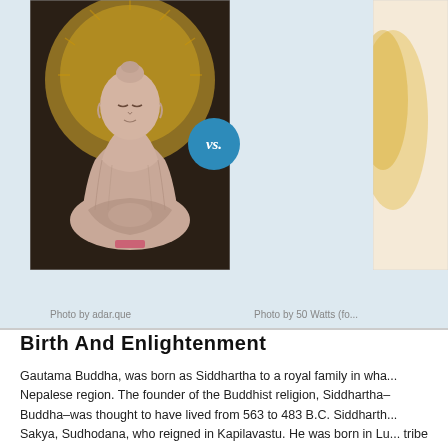[Figure (photo): Buddha statue seated in meditation pose inside a temple with golden backdrop, left side of comparison image]
[Figure (photo): Partial view of a second comparison image on the right side, cropped, with warm golden/cream tones]
Photo by adar.que
Photo by 50 Watts (fo...
Birth And Enlightenment
Gautama Buddha, was born as Siddhartha to a royal family in wha... Nepalese region. The founder of the Buddhist religion, Siddhartha-Buddha–was thought to have lived from 563 to 483 B.C. Siddharth... Sakya, Sudhodana, who reigned in Kapilavastu. He was born in Lu... tribe of the Sakyas. After his birth, a well respected sage approach... them that the according to the child's astrological information he wa... great and gifted warrior or holy man. Throughout much of Siddhart... privileged existence as royalty, with his father eager protect him fro...